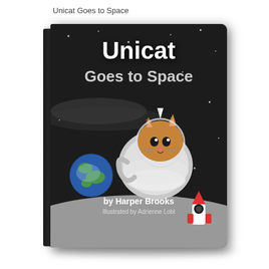Unicat Goes to Space
[Figure (illustration): A children's book cover showing a cartoon unicat (cat with a unicorn horn) in a space suit floating in space, with Earth visible on the left, a small red rocket on the lower right, stars scattered in the dark background, and a grey moon surface at the bottom. The book is shown in a 3D perspective with a dark spine on the left.]
Unicat
Goes to Space
by Harper Brooks
Illustrated by Adrienne Lobl